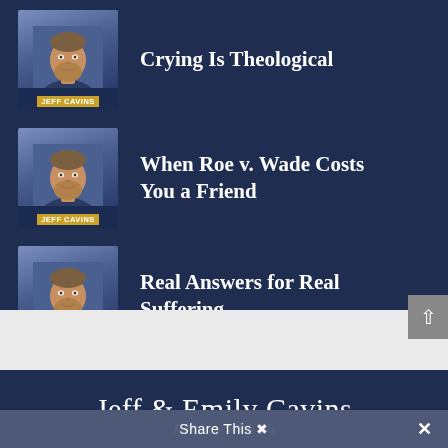Crying Is Theological
When Roe v. Wade Costs You a Friend
Real Answers for Real Suffering
Jeff & Emily Cavins
Journey With Us
Share This